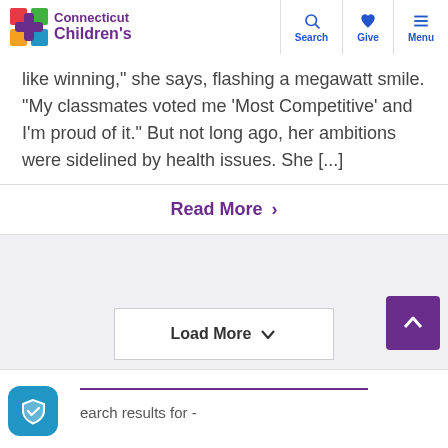Connecticut Children's | Search | Give | Menu
like winning," she says, flashing a megawatt smile. “My classmates voted me ‘Most Competitive’ and I’m proud of it.” But not long ago, her ambitions were sidelined by health issues. She [...]
Read More >
Load More
earch results for -